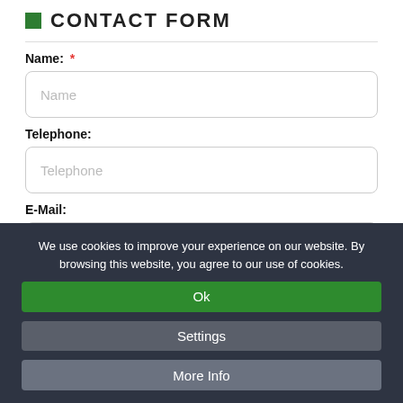CONTACT FORM
Name: *
Telephone:
E-Mail:
We use cookies to improve your experience on our website. By browsing this website, you agree to our use of cookies.
Ok
Settings
More Info